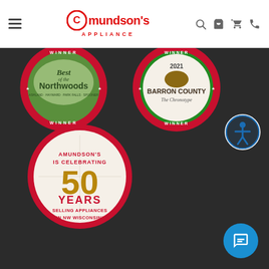[Figure (logo): Amundson's Appliance logo with hamburger menu, search, cart, and phone icons in white header bar]
[Figure (photo): Best of the Northwoods Winner badge/seal - circular award badge with red border and WINNER text]
[Figure (photo): Barron County 2021 Winner badge - The Chronotype circular seal with red/green border]
[Figure (photo): Amundson's is celebrating 50 Years selling appliances in NW Wisconsin - circular badge with red border on dark background]
[Figure (illustration): Blue accessibility icon circle with person/wheelchair symbol]
[Figure (illustration): Blue chat button circle with message/chat icon]